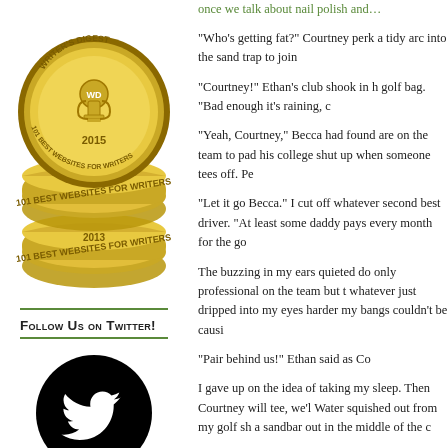[Figure (illustration): Writer's Digest 101 Best Websites for Writers award badge stack showing 2015, 2014, and 2013 gold medal badges with trophy icons]
Follow Us on Twitter!
[Figure (logo): Twitter bird logo in white on black circle]
"Who's getting fat?" Courtney perk a tidy arc into the sand trap to join
"Courtney!" Ethan's club shook in h golf bag. "Bad enough it's raining, c
"Yeah, Courtney," Becca had found are on the team to pad his college shut up when someone tees off. Pe
"Let it go Becca." I cut off whatever second best driver. "At least some daddy pays every month for the go
The buzzing in my ears quieted do only professional on the team but t whatever just dripped into my eyes harder my bangs couldn't be causi
"Pair behind us!" Ethan said as Co
I gave up on the idea of taking my sleep. Then Courtney will tee, we'l Water squished out from my golf sh a sandbar out in the middle of the c